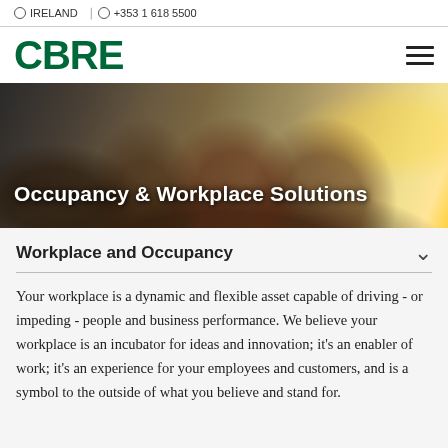IRELAND  +353 1 618 5500
[Figure (logo): CBRE logo in green with hamburger menu icon on the right]
[Figure (photo): Hero image showing people sitting together in a modern office space, with text overlay 'Occupancy & Workplace Solutions']
Workplace and Occupancy
Your workplace is a dynamic and flexible asset capable of driving - or impeding - people and business performance. We believe your workplace is an incubator for ideas and innovation; it's an enabler of work; it's an experience for your employees and customers, and is a symbol to the outside of what you believe and stand for.